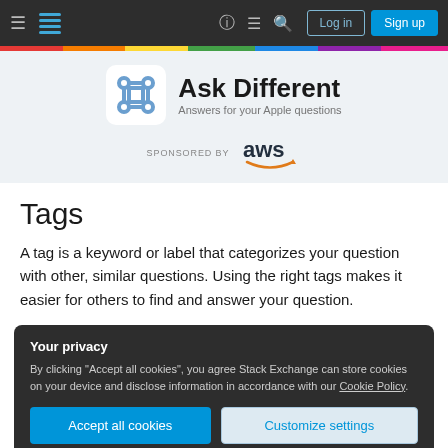Ask Different — Answers for your Apple questions
[Figure (logo): Ask Different logo with command key symbol and site name, sponsored by AWS]
Tags
A tag is a keyword or label that categorizes your question with other, similar questions. Using the right tags makes it easier for others to find and answer your question.
Your privacy
By clicking "Accept all cookies", you agree Stack Exchange can store cookies on your device and disclose information in accordance with our Cookie Policy.
Accept all cookies  Customize settings
0 questions